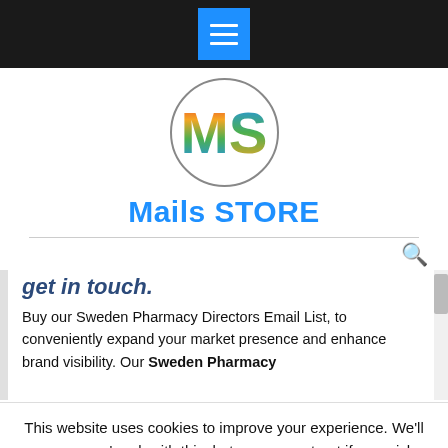Mails STORE - navigation header with menu button
[Figure (logo): Mails STORE logo: circle with rainbow-colored 'MS' letters]
Mails STORE
get in touch.
Buy our Sweden Pharmacy Directors Email List, to conveniently expand your market presence and enhance brand visibility. Our Sweden Pharmacy
This website uses cookies to improve your experience. We'll assume you're ok with this, but you can opt-out if you wish.
Accept   Reject   Read More